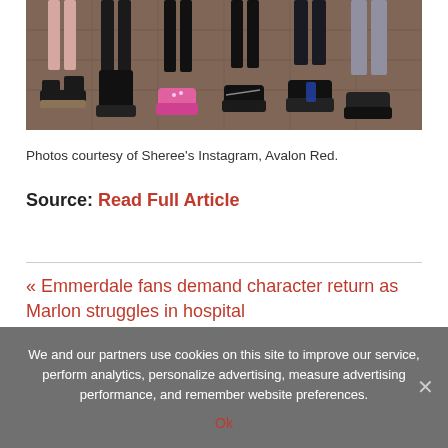[Figure (photo): Photo of feet and shoes of multiple people standing together on a tiled floor. Visible are platform sandals, boots, pink sneakers, black Vans, black sneakers, and grey jeans.]
Photos courtesy of Sheree’s Instagram, Avalon Red.
Source: Read Full Article
« Emmerdale fans demand character return as Marlon struggles in hospital
We and our partners use cookies on this site to improve our service, perform analytics, personalize advertising, measure advertising performance, and remember website preferences.
Ok